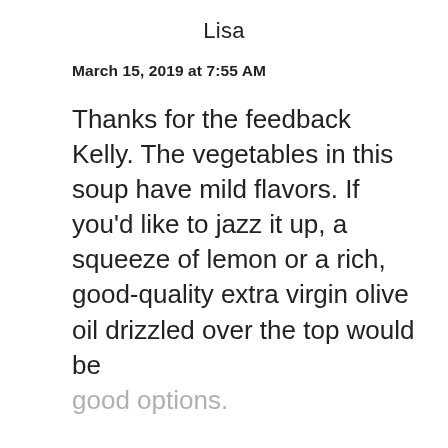Lisa
March 15, 2019 at 7:55 AM
Thanks for the feedback Kelly. The vegetables in this soup have mild flavors. If you'd like to jazz it up, a squeeze of lemon or a rich, good-quality extra virgin olive oil drizzled over the top would be good options.
Reply